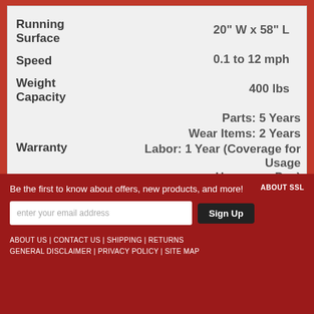| Spec | Value |
| --- | --- |
| Running Surface | 20" W x 58" L |
| Speed | 0.1 to 12 mph |
| Weight Capacity | 400 lbs |
| Warranty | Parts: 5 Years
Wear Items: 2 Years
Labor: 1 Year (Coverage for Usage Hours per Day) |
Be the first to know about offers, new products, and more!
ABOUT US | CONTACT US | SHIPPING | RETURNS GENERAL DISCLAIMER | PRIVACY POLICY | SITE MAP